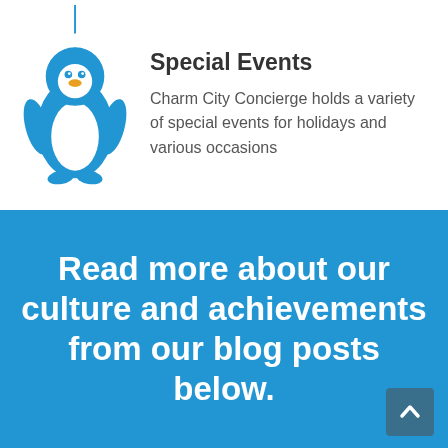[Figure (illustration): Blue line-art penguin (Tux-style) hanging from a string, sitting position]
Special Events
Charm City Concierge holds a variety of special events for holidays and various occasions
Read more about our culture and achievements from our blog posts below.